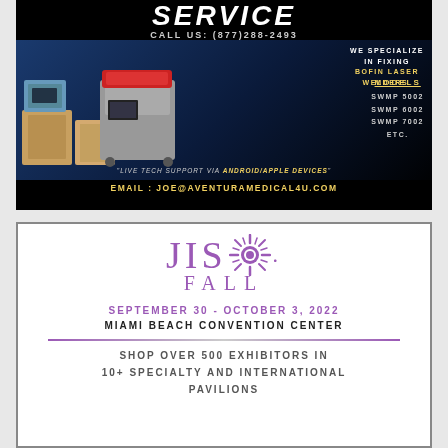[Figure (photo): Advertisement for Aventura Medical Service showing laser welding machines on dark blue/black background. Text includes CALL US: (877)288-2493, WE SPECIALIZE IN FIXING BOFIN LASER WELDERS. MODELS: SWMP 5002, SWMP 6002, SWMP 7002, ETC. Live tech support via Android/Apple devices. EMAIL: JOE@AVENTURAMEDICAL4U.COM]
[Figure (illustration): JISO FALL advertisement. September 30 - October 3, 2022. Miami Beach Convention Center. Shop over 500 exhibitors in 10+ specialty and international pavilions. Purple/violet color scheme with sun logo.]